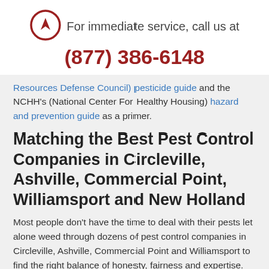[Figure (logo): Aptera logo: red circle with white arrow pointing up-right inside]
For immediate service, call us at
(877) 386-6148
Resources Defense Council) pesticide guide and the NCHH's (National Center For Healthy Housing) hazard and prevention guide as a primer.
Matching the Best Pest Control Companies in Circleville, Ashville, Commercial Point, Williamsport and New Holland
Most people don't have the time to deal with their pests let alone weed through dozens of pest control companies in Circleville, Ashville, Commercial Point and Williamsport to find the right balance of honesty, fairness and expertise. This is why Aptera has already whittled down your choices with phone interviews,